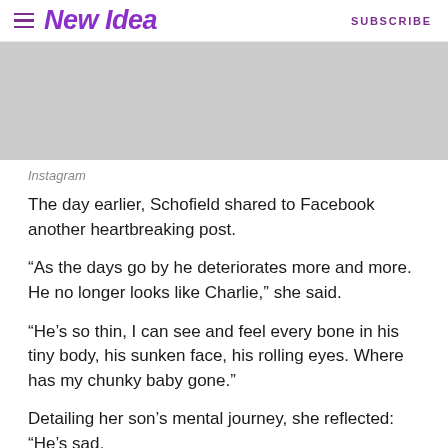New Idea | SUBSCRIBE
[Figure (photo): Gray placeholder image (Instagram photo)]
Instagram
The day earlier, Schofield shared to Facebook another heartbreaking post.
“As the days go by he deteriorates more and more. He no longer looks like Charlie,” she said.
“He’s so thin, I can see and feel every bone in his tiny body, his sunken face, his rolling eyes. Where has my chunky baby gone.”
Detailing her son’s mental journey, she reflected: “He’s sad,